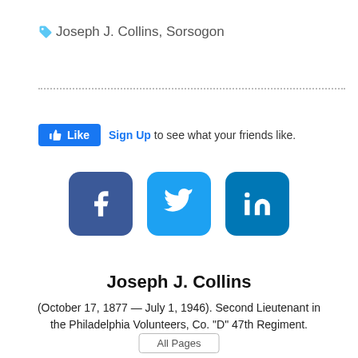Joseph J. Collins, Sorsogon
[Figure (infographic): Facebook Like button widget with thumbs up icon and 'Sign Up to see what your friends like.' text]
[Figure (infographic): Three social media share buttons: Facebook (dark blue rounded square), Twitter (light blue rounded square), LinkedIn (medium blue rounded square)]
Joseph J. Collins
(October 17, 1877 — July 1, 1946). Second Lieutenant in the Philadelphia Volunteers, Co. "D" 47th Regiment.
All Pages